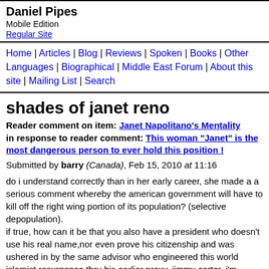Daniel Pipes
Mobile Edition
Regular Site
Home | Articles | Blog | Reviews | Spoken | Books | Other Languages | Biographical | Middle East Forum | About this site | Mailing List | Search
shades of janet reno
Reader comment on item: Janet Napolitano's Mentality in response to reader comment: This woman "Janet" is the most dangerous person to ever hold this position !
Submitted by barry (Canada), Feb 15, 2010 at 11:16
do i understand correctly than in her early career, she made a a serious comment whereby the american government will have to kill off the right wing portion of its population? (selective depopulation).
if true, how can it be that you also have a president who doesn't use his real name,nor even prove his citizenship and was ushered in by the same advisor who engineered this world islamist resurgence thru his earlier proxy, jimmy carter. i'm talking about a creator of the trilateral